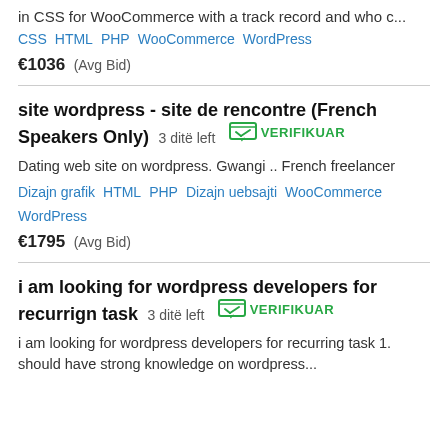in CSS for WooCommerce with a track record and who c...
CSS  HTML  PHP  WooCommerce  WordPress
€1036  (Avg Bid)
site wordpress - site de rencontre (French Speakers Only)  3 ditë left  VERIFIKUAR
Dating web site on wordpress. Gwangi .. French freelancer
Dizajn grafik  HTML  PHP  Dizajn uebsajti  WooCommerce  WordPress
€1795  (Avg Bid)
i am looking for wordpress developers for recurrign task  3 ditë left  VERIFIKUAR
i am looking for wordpress developers for recurring task 1. should have strong knowledge on wordpress...